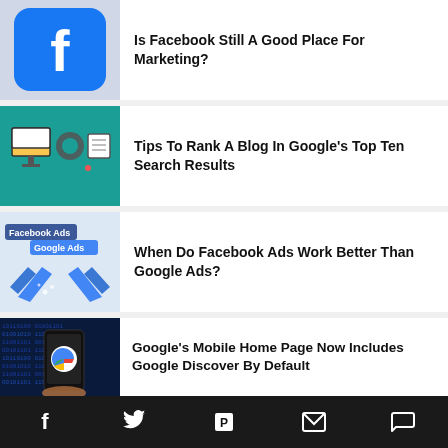[Figure (illustration): Facebook logo icon on blue rounded square background]
Is Facebook Still A Good Place For Marketing?
[Figure (illustration): Digital marketing/SEO illustration with monitor, gear icons on teal background]
Tips To Rank A Blog In Google's Top Ten Search Results
[Figure (illustration): Facebook Ads vs Google Ads comparison illustration with hands shaking and checkmarks]
When Do Facebook Ads Work Better Than Google Ads?
[Figure (photo): Hand holding phone with Google logo on digital binary background]
Google's Mobile Home Page Now Includes Google Discover By Default
Social icons: Facebook, Twitter, Flipboard, Email, Comment